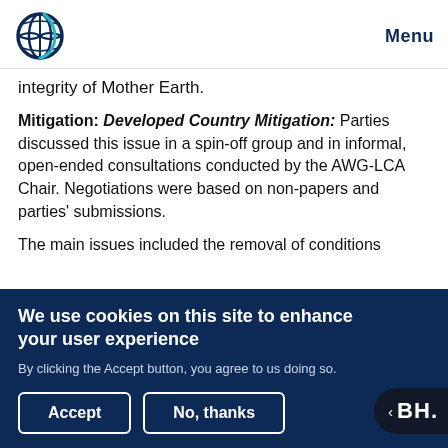Menu
integrity of Mother Earth.
Mitigation: Developed Country Mitigation: Parties discussed this issue in a spin-off group and in informal, open-ended consultations conducted by the AWG-LCA Chair. Negotiations were based on non-papers and parties' submissions.
The main issues included the removal of conditions
We use cookies on this site to enhance your user experience
By clicking the Accept button, you agree to us doing so.